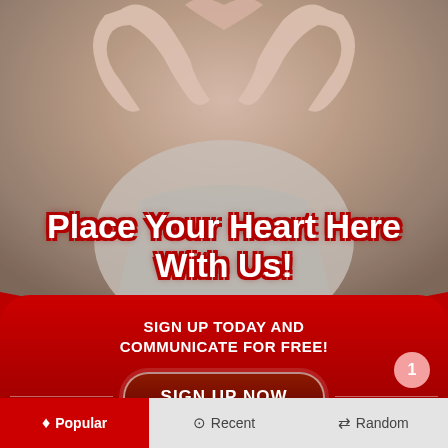[Figure (photo): Person forming a heart shape with their hands, close-up photo with warm tones]
Place Your Heart Here With Us!
SIGN UP TODAY AND COMMUNICATE FOR FREE!
SIGN UP NOW
FIND LOVE FOR FREE TODAY!
www.spadeofhearts.com
Popular   Recent   Random